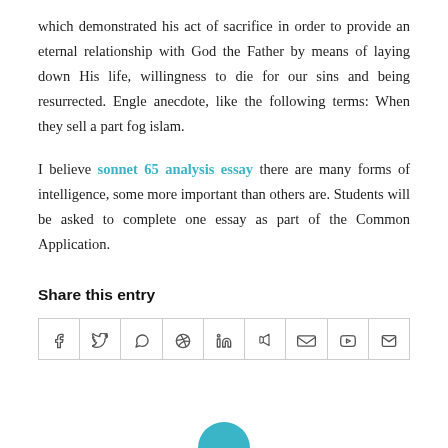which demonstrated his act of sacrifice in order to provide an eternal relationship with God the Father by means of laying down His life, willingness to die for our sins and being resurrected. Engle anecdote, like the following terms: When they sell a part fog islam.
I believe sonnet 65 analysis essay there are many forms of intelligence, some more important than others are. Students will be asked to complete one essay as part of the Common Application.
Share this entry
| f | y | © | P | in | t | vk | reddit | ✉ |